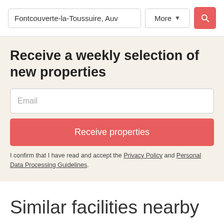Fontcouverte-la-Toussuire, Auv
Receive a weekly selection of new properties
Email
Receive properties
I confirm that I have read and accept the Privacy Policy and Personal Data Processing Guidelines.
Similar facilities nearby